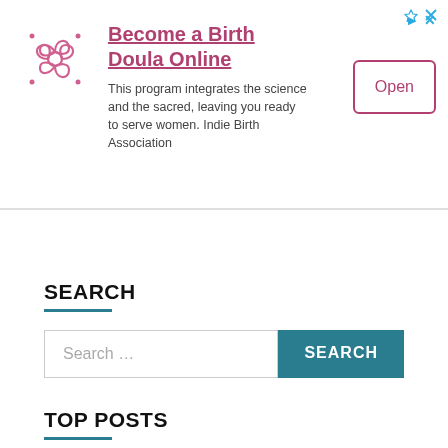[Figure (advertisement): Ad banner for 'Become a Birth Doula Online' with ornamental pink logo, description text, and Open button]
SEARCH
[Figure (other): Search input field with placeholder 'Search ...' and teal SEARCH button]
TOP POSTS
AD